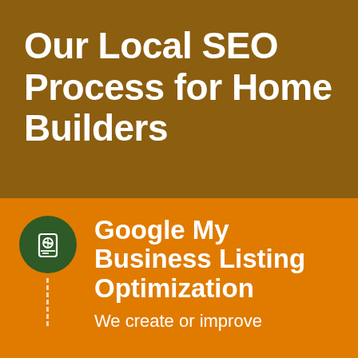Our Local SEO Process for Home Builders
Google My Business Listing Optimization
We create or improve